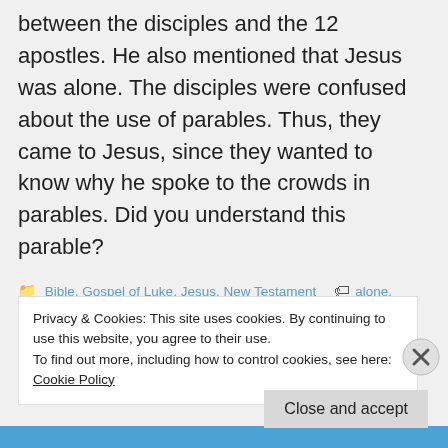between the disciples and the 12 apostles. He also mentioned that Jesus was alone. The disciples were confused about the use of parables. Thus, they came to Jesus, since they wanted to know why he spoke to the crowds in parables. Did you understand this parable?
Bible, Gospel of Luke, Jesus, New Testament  alone, apostles, asked, Confused, crowds, distinction, his disciples, Jesus, Luke, Mark, Matthew, parable, said, similar, synoptic gospels, understand, What does it mean?
Privacy & Cookies: This site uses cookies. By continuing to use this website, you agree to their use.
To find out more, including how to control cookies, see here: Cookie Policy
Close and accept